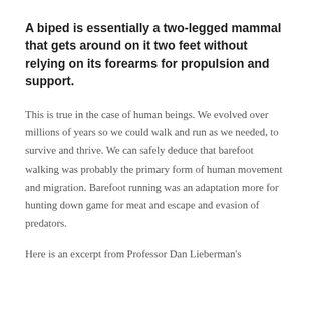A biped is essentially a two-legged mammal that gets around on it two feet without relying on its forearms for propulsion and support.
This is true in the case of human beings. We evolved over millions of years so we could walk and run as we needed, to survive and thrive. We can safely deduce that barefoot walking was probably the primary form of human movement and migration. Barefoot running was an adaptation more for hunting down game for meat and escape and evasion of predators.
Here is an excerpt from Professor Dan Lieberman's